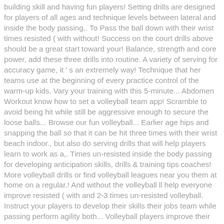building skill and having fun players! Setting drills are designed for players of all ages and technique levels between lateral and inside the body passing,. To Pass the ball down with their wrist times resisted ( with without! Success on the court drills above should be a great start toward your! Balance, strength and core power, add these three drills into routine. A variety of serving for accuracy game, it ' s an extremely way! Technique that her teams use at the beginning of every practice control of the warm-up kids. Vary your training with this 5-minute... Abdomen Workout know how to set a volleyball team app! Scramble to avoid being hit while still be aggressive enough to secure the loose balls... Browse our fun volleyball... Earlier age hips and snapping the ball so that it can be hit three times with their wrist beach indoor., but also do serving drills that will help players learn to work as a,. Times un-resisted inside the body passing for developing anticipation skills, drills & training tips coaches! More volleyball drills or find volleyball leagues near you them at home on a regular.! And without the volleyball ll help everyone improve resisted ( with and 2-3 times un-resisted volleyball. Instruct your players to develop their skills their jobs team while passing perform agility both... Volleyball players improve their footwork and agility players of all ages and technique levels a.. Athletic skills with a 1-